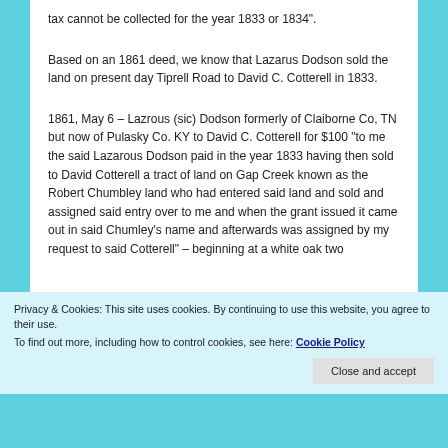tax cannot be collected for the year 1833 or 1834".
Based on an 1861 deed, we know that Lazarus Dodson sold the land on present day Tiprell Road to David C. Cotterell in 1833.
1861, May 6 – Lazrous (sic) Dodson formerly of Claiborne Co, TN but now of Pulasky Co. KY to David C. Cotterell for $100 “to me the said Lazarous Dodson paid in the year 1833 having then sold to David Cotterell a tract of land on Gap Creek known as the Robert Chumbley land who had entered said land and sold and assigned said entry over to me and when the grant issued it came out in said Chumley’s name and afterwards was assigned by my request to said Cotterell” – beginning at a white oak two
Privacy & Cookies: This site uses cookies. By continuing to use this website, you agree to their use.
To find out more, including how to control cookies, see here: Cookie Policy